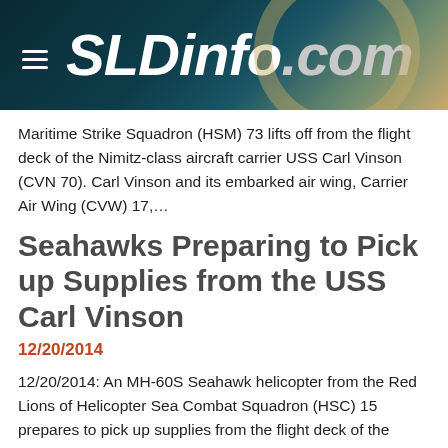SLDinfo.com
Maritime Strike Squadron (HSM) 73 lifts off from the flight deck of the Nimitz-class aircraft carrier USS Carl Vinson (CVN 70). Carl Vinson and its embarked air wing, Carrier Air Wing (CVW) 17,...
Seahawks Preparing to Pick up Supplies from the USS Carl Vinson
12/20/2014
12/20/2014: An MH-60S Seahawk helicopter from the Red Lions of Helicopter Sea Combat Squadron (HSC) 15 prepares to pick up supplies from the flight deck of the Nimitz-class aircraft carrier USS Carl Vinson (CVN 70) to distribute to the other ships in the Carl Vinson Carrier Strike Group. Carl Vinson...